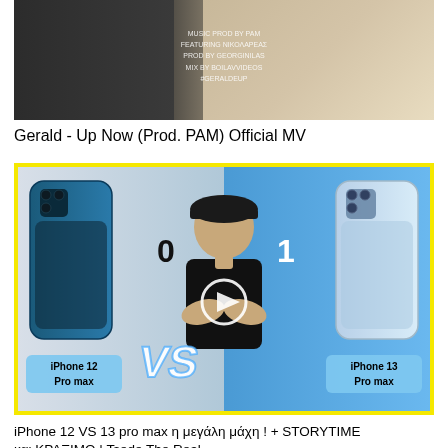[Figure (screenshot): Video thumbnail showing two people in a room with text overlay: MUSIC PROD BY PAM, and other credits. Dark left side with person in white, right side with person in athletic wear near window.]
Gerald - Up Now (Prod. PAM) Official MV
[Figure (screenshot): YouTube video thumbnail with yellow border showing iPhone 12 Pro max vs iPhone 13 Pro max comparison. A man in black cap and t-shirt stands in center with arms crossed in front of VS text. Apple logos labeled 0 and 1 flank him, phones on each side.]
iPhone 12 VS 13 pro max η μεγάλη μάχη ! + STORYTIME και ΚΡΑΞΙΜΟ | Tsede The Real